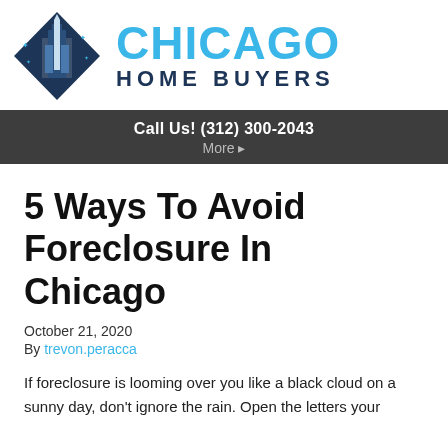[Figure (logo): Chicago Home Buyers logo with diamond-shaped building icon and text 'CHICAGO HOME BUYERS']
Call Us! (312) 300-2043
More ▸
5 Ways To Avoid Foreclosure In Chicago
October 21, 2020
By trevon.peracca
If foreclosure is looming over you like a black cloud on a sunny day, don't ignore the rain. Open the letters your